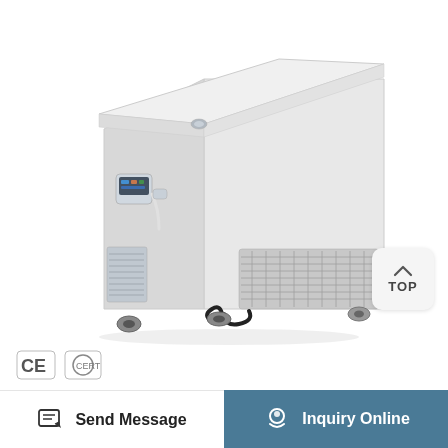[Figure (photo): A white chest-style ultra-low temperature laboratory freezer shown in three-quarter view, with a flat top lid, digital controller on the front left side, compressor/condenser unit at the bottom right with wire mesh grille, black power cord, and caster wheels at the base.]
[Figure (other): TOP navigation button — rounded square button with an up-arrow icon and the text TOP below it.]
[Figure (logo): CE certification logo and another certification/approval mark logo.]
Send Message
Inquiry Online